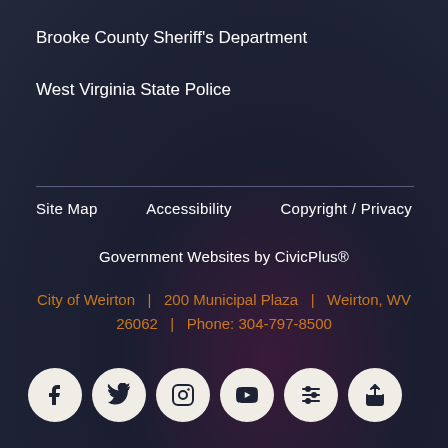Brooke County Sheriff's Department
West Virginia State Police
Site Map
Accessibility
Copyright / Privacy
Government Websites by CivicPlus®
City of Weirton   |   200 Municipal Plaza  |   Weirton, WV 26062   |   Phone: 304-797-8500
[Figure (infographic): Row of 6 social media icon circles: Facebook, Twitter, Instagram, YouTube, settings/sliders icon, share icon]